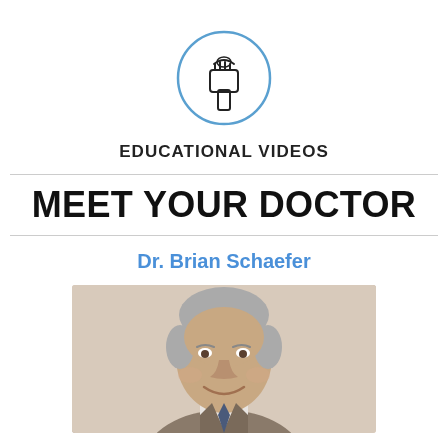[Figure (logo): Toothbrush with toothpaste icon inside a blue circle]
EDUCATIONAL VIDEOS
MEET YOUR DOCTOR
Dr. Brian Schaefer
[Figure (photo): Professional headshot of Dr. Brian Schaefer, a middle-aged man with gray hair wearing a suit, smiling]